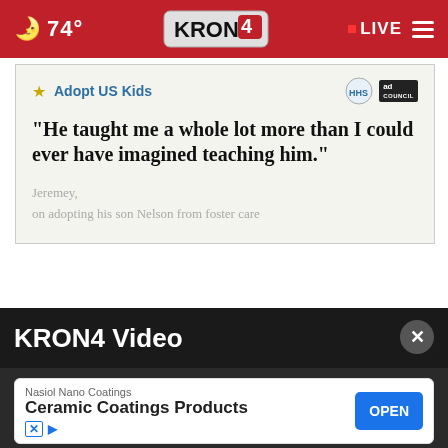74° KRON4 LIVE
[Figure (screenshot): Adopt US Kids advertisement with quote: "He taught me a whole lot more than I could ever have imagined teaching him." — Jeremey, on adopting his son Nelson from foster care]
KRON4 Video
[Figure (screenshot): Nasiol Nano Coatings - Ceramic Coatings Products advertisement banner with OPEN button]